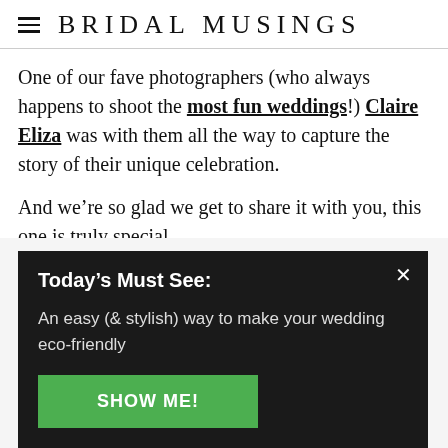BRIDAL MUSINGS
One of our fave photographers (who always happens to shoot the most fun weddings!) Claire Eliza was with them all the way to capture the story of their unique celebration.
And we’re so glad we get to share it with you, this one is truly special.
Today’s Must See:
An easy (& stylish) way to make your wedding eco-friendly
SHOW ME!